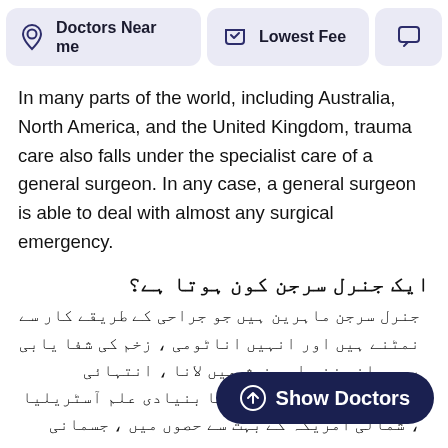Doctors Near me | Lowest Fee
In many parts of the world, including Australia, North America, and the United Kingdom, trauma care also falls under the specialist care of a general surgeon. In any case, a general surgeon is able to deal with almost any surgical emergency.
ایک جنرل سرجن کون ہوتا ہے؟
جنرل سرجن ماہرین ہیں جو جراحی کے طریقے کار سے نمٹنے ہیں اور انہیں اناٹومی ، زخم کی شفا یابی ، جسمانی زخم اور خوش میں لانا ، انتہائی نگہداشت اور نیوپلاسیہ کا بنیادی علم آسٹریلیا ، شمالی امریکہ بہت سے حصوں میں ، جسمانی زخم سرجن کی خصوصی نگہداشت میں آتی ہے کسی بھی صورت میں ، ایک جنرل سرجن تقریبا کسی بھی سرجیکل ایمرجنسی سے نمٹنے کے قابل ہوتا ہے